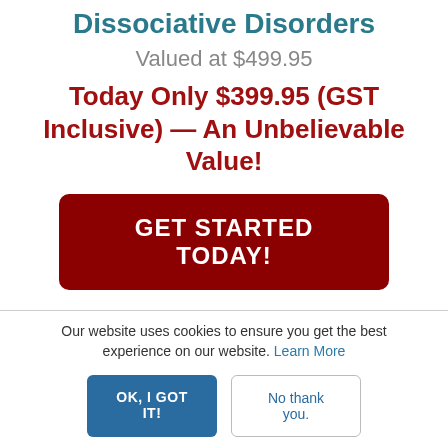Dissociative Disorders
Valued at $499.95
Today Only $399.95 (GST Inclusive) — An Unbelievable Value!
GET STARTED TODAY!
Our website uses cookies to ensure you get the best experience on our website. Learn More
OK, I GOT IT!
No thank you.